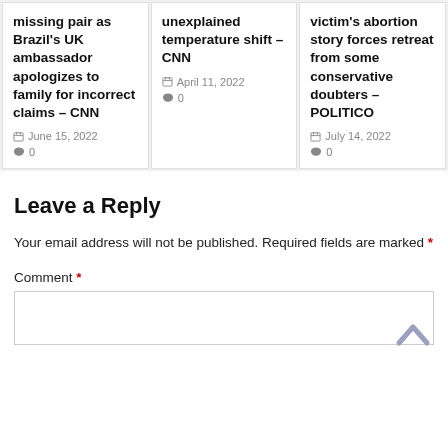missing pair as Brazil's UK ambassador apologizes to family for incorrect claims – CNN
June 15, 2022
0
unexplained temperature shift – CNN
April 11, 2022
0
victim's abortion story forces retreat from some conservative doubters – POLITICO
July 14, 2022
0
Leave a Reply
Your email address will not be published. Required fields are marked *
Comment *